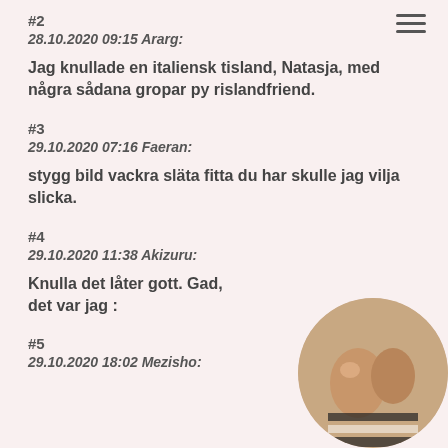#2
28.10.2020 09:15 Ararg:
Jag knullade en italiensk tisland, Natasja, med några sådana gropar py rislandfriend.
#3
29.10.2020 07:16 Faeran:
stygg bild vackra släta fitta du har skulle jag vilja slicka.
#4
29.10.2020 11:38 Akizuru:
Knulla det låter gott. Gad, det var jag :
#5
29.10.2020 18:02 Mezisho:
[Figure (photo): Circular cropped photo showing a person's torso]